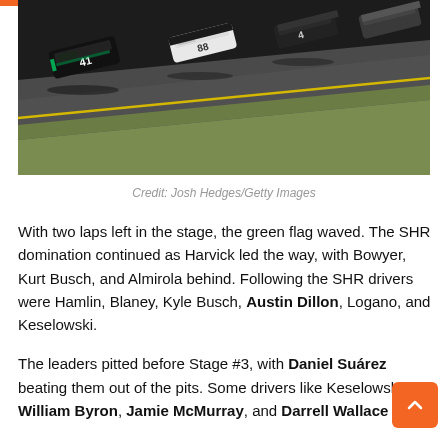[Figure (photo): NASCAR stock cars racing on track, aerial/elevated view showing cars in formation on the racing surface with grass infield visible]
Credit: Josh Hedges/Getty Images
With two laps left in the stage, the green flag waved. The SHR domination continued as Harvick led the way, with Bowyer, Kurt Busch, and Almirola behind. Following the SHR drivers were Hamlin, Blaney, Kyle Busch, Austin Dillon, Logano, and Keselowski.
The leaders pitted before Stage #3, with Daniel Suárez beating them out of the pits. Some drivers like Keselowski, William Byron, Jamie McMurray, and Darrell Wallace Jr.